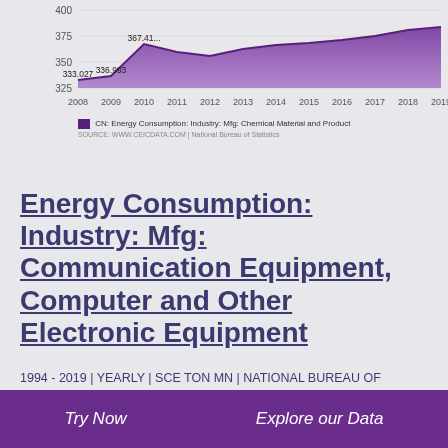[Figure (area-chart): CN: Energy Consumption: Industry: Mfg: Chemical Material and Product]
CN: Energy Consumption: Industry: Mfg: Chemical Material and Product
SOURCE: WWW.CEICDATA.COM | National Bureau of Statistics
Energy Consumption: Industry: Mfg: Communication Equipment, Computer and Other Electronic Equipment
1994 - 2019 | YEARLY | SCE TON MN | NATIONAL BUREAU OF STATISTICS
CN: Energy Consumption: Industry: Mfg: Communication Equipment, Computer and Other Electronic Equipment data
Try Now    Explore our Data